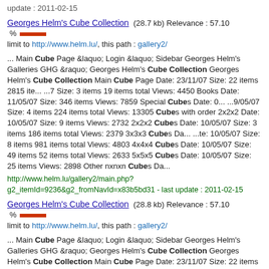update : 2011-02-15
Georges Helm's Cube Collection (28.7 kb) Relevance : 57.10 %
limit to http://www.helm.lu/, this path : gallery2/
... Main Cube Page &laquo; Login &laquo; Sidebar Georges Helm's Galleries GHG &raquo; Georges Helm's Cube Collection Georges Helm's Cube Collection Main Cube Page Date: 23/11/07 Size: 22 items 2815 ite... ...7 Size: 3 items 19 items total Views: 4450 Books Date: 11/05/07 Size: 346 items Views: 7859 Special Cubes Date: 0... ...9/05/07 Size: 4 items 224 items total Views: 13305 Cubes with order 2x2x2 Date: 10/05/07 Size: 9 items Views: 2732 2x2x2 Cubes Date: 10/05/07 Size: 3 items 186 items total Views: 2379 3x3x3 Cubes Da... ...te: 10/05/07 Size: 8 items 981 items total Views: 4803 4x4x4 Cubes Date: 10/05/07 Size: 49 items 52 items total Views: 2633 5x5x5 Cubes Date: 10/05/07 Size: 25 items Views: 2898 Other nxnxn Cubes Da...
http://www.helm.lu/gallery2/main.php?g2_itemId=9236&g2_fromNavId=x83b5bd31 - last update : 2011-02-15
Georges Helm's Cube Collection (28.8 kb) Relevance : 57.10 %
limit to http://www.helm.lu/, this path : gallery2/
... Main Cube Page &laquo; Login &laquo; Sidebar Georges Helm's Galleries GHG &raquo; Georges Helm's Cube Collection Georges Helm's Cube Collection Main Cube Page Date: 23/11/07 Size: 22 items 2815 ite... ...7 Size: 3 items 19 items total Views: 4449 Books Date: 11/05/07 Size: 346 items Views: 7859 Special Cubes Date: 0... ...9/05/07 Size: 4 items